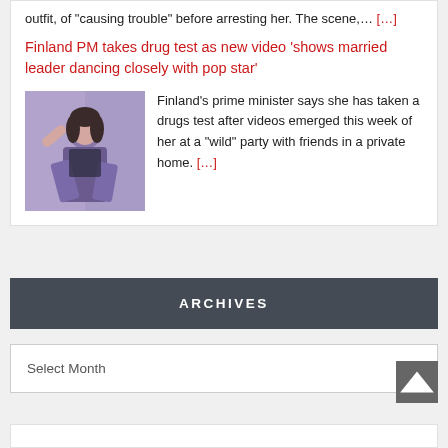outfit, of "causing trouble" before arresting her. The scene,… [...]
Finland PM takes drug test as new video 'shows married leader dancing closely with pop star'
[Figure (photo): Thumbnail photo of a woman in a dark outfit at a party]
Finland's prime minister says she has taken a drugs test after videos emerged this week of her at a "wild" party with friends in a private home. [...]
ARCHIVES
Select Month
▲